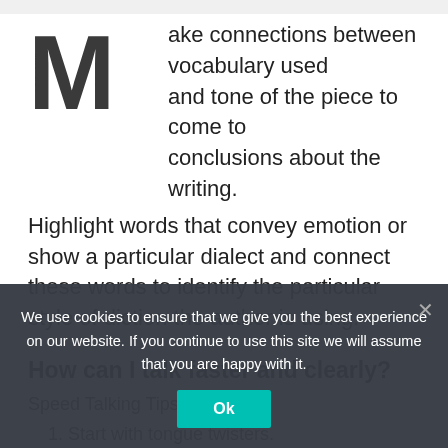Make connections between vocabulary used and tone of the piece to come to conclusions about the writing. Highlight words that convey emotion or show a particular dialect and connect these words to identify the particular style of diction the author is using.
How can I talk faster and clearly?
Speed Talking Tips
1. Start with tongue twisters.
2. Enunciate well.
We use cookies to ensure that we give you the best experience on our website. If you continue to use this site we will assume that you are happy with it.